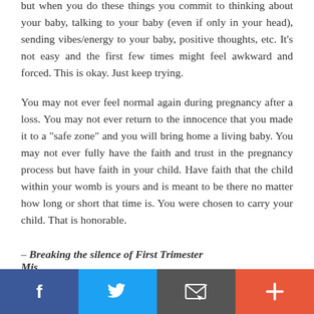but when you do these things you commit to thinking about your baby, talking to your baby (even if only in your head), sending vibes/energy to your baby, positive thoughts, etc. It's not easy and the first few times might feel awkward and forced. This is okay. Just keep trying.
You may not ever feel normal again during pregnancy after a loss. You may not ever return to the innocence that you made it to a "safe zone" and you will bring home a living baby. You may not ever fully have the faith and trust in the pregnancy process but have faith in your child. Have faith that the child within your womb is yours and is meant to be there no matter how long or short that time is. You were chosen to carry your child. That is honorable.
– Breaking the silence of First Trimester Miscarriages
[Figure (other): Social sharing bar with four buttons: Facebook (dark blue), Twitter (light blue), Email/envelope (dark gray), and Plus/more (orange-red)]